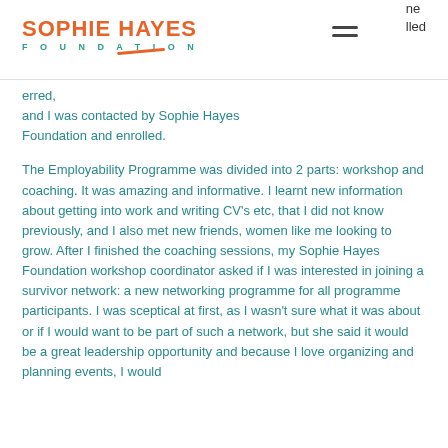Sophie Hayes Foundation
erred, and I was contacted by Sophie Hayes Foundation and enrolled.
The Employability Programme was divided into 2 parts: workshop and coaching. It was amazing and informative. I learnt new information about getting into work and writing CV's etc, that I did not know previously, and I also met new friends, women like me looking to grow. After I finished the coaching sessions, my Sophie Hayes Foundation workshop coordinator asked if I was interested in joining a survivor network: a new networking programme for all programme participants. I was sceptical at first, as I wasn't sure what it was about or if I would want to be part of such a network, but she said it would be a great leadership opportunity and because I love organizing and planning events, I would